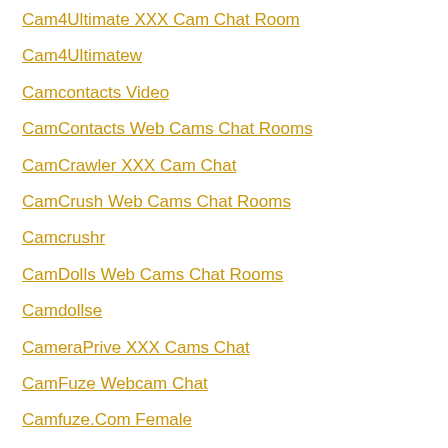Cam4Ultimate XXX Cam Chat Room
Cam4Ultimatew
Camcontacts Video
CamContacts Web Cams Chat Rooms
CamCrawler XXX Cam Chat
CamCrush Web Cams Chat Rooms
Camcrushr
CamDolls Web Cams Chat Rooms
Camdollse
CameraPrive XXX Cams Chat
CamFuze Webcam Chat
Camfuze.Com Female
CamHub XXX Cams Chat Room